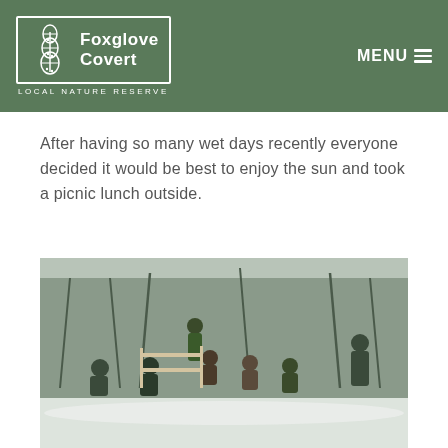[Figure (logo): Foxglove Covert Local Nature Reserve logo — white text and foxglove illustration on green background, with MENU hamburger icon top right]
After having so many wet days recently everyone decided it would be best to enjoy the sun and took a picnic lunch outside.
[Figure (photo): Group of people sitting and standing outdoors in a snowy woodland setting, eating a picnic lunch. Trees with bare branches visible in background. People dressed in warm winter outdoor clothing.]